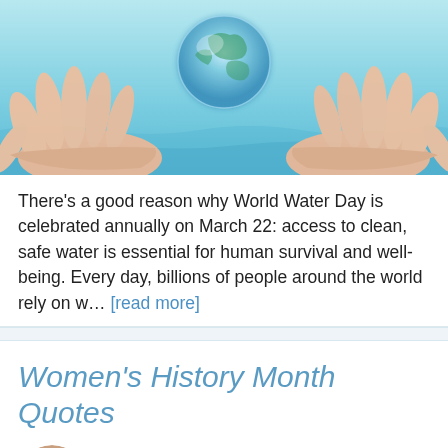[Figure (photo): Hands holding a glowing globe over blue water, teal and aqua tones, two sets of cupped hands from left and right sides cradling a translucent Earth globe, water surface in background.]
There's a good reason why World Water Day is celebrated annually on March 22: access to clean, safe water is essential for human survival and well-being. Every day, billions of people around the world rely on w… [read more]
Women's History Month Quotes
Skylar Wishes